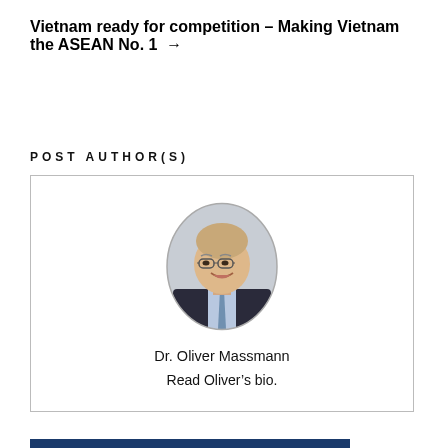Vietnam ready for competition – Making Vietnam the ASEAN No. 1 →
POST AUTHOR(S)
[Figure (photo): Oval portrait photo of Dr. Oliver Massmann, a middle-aged man with glasses, wearing a dark suit and blue tie, smiling, on a light grey background.]
Dr. Oliver Massmann
Read Oliver's bio.